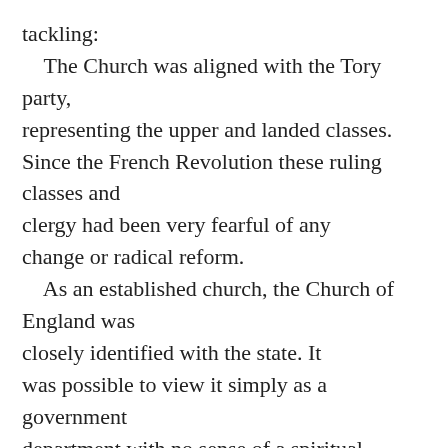tackling:
    The Church was aligned with the Tory party, representing the upper and landed classes. Since the French Revolution these ruling classes and clergy had been very fearful of any change or radical reform.
    As an established church, the Church of England was closely identified with the state. It was possible to view it simply as a government department with no sense of a spiritual calling or mission.
    The Church had managed to ignore the industrialization of England, and had made no provision for the enormous population explosion in urban areas. The poor were largely